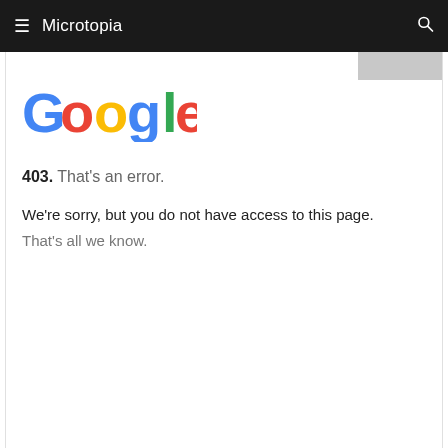≡  Microtopia  🔍
[Figure (logo): Google logo in multicolor letters]
403. That's an error.
We're sorry, but you do not have access to this page. That's all we know.